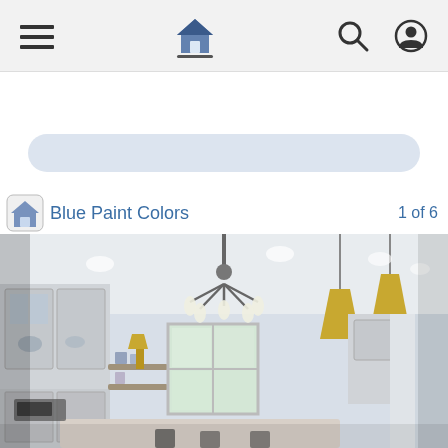Navigation bar with menu, home, search, and profile icons
[Figure (screenshot): Search pill / input bar with light blue rounded rectangle]
Blue Paint Colors   1 of 6
[Figure (photo): Interior kitchen photo with white cabinets, chandelier, and gold pendant lights over island]